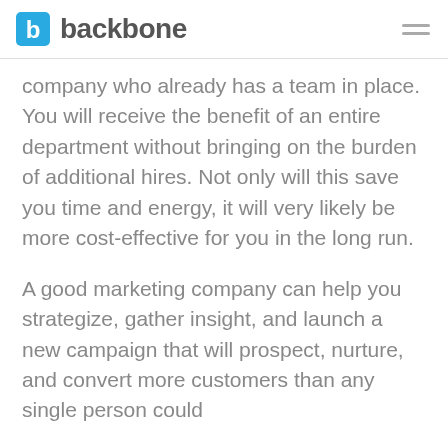backbone
company who already has a team in place. You will receive the benefit of an entire department without bringing on the burden of additional hires. Not only will this save you time and energy, it will very likely be more cost-effective for you in the long run.
A good marketing company can help you strategize, gather insight, and launch a new campaign that will prospect, nurture, and convert more customers than any single person could